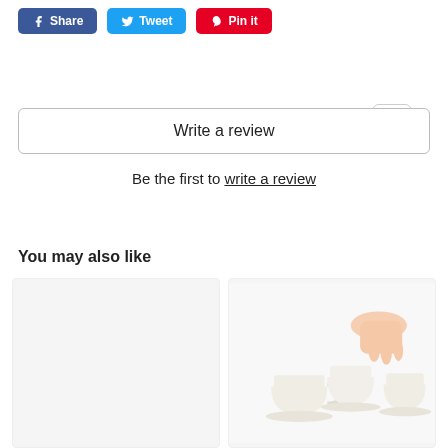[Figure (other): Social sharing buttons: Facebook Share (blue), Twitter Tweet (light blue), Pinterest Pin it (red)]
[Figure (other): Five empty star rating icons and a filter/settings icon button]
Write a review
Be the first to write a review
You may also like
[Figure (photo): Empty white/light gray product image placeholder]
[Figure (photo): Photo of a hand picking up a small white espresso cup from three white cups on saucers against a white background]